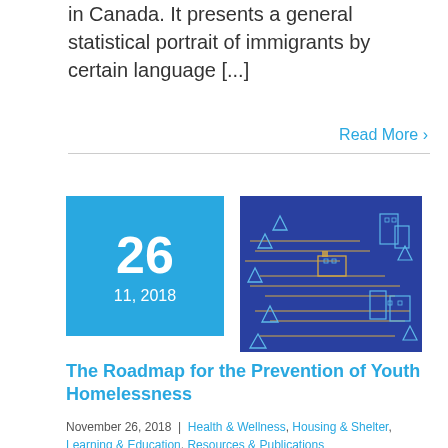in Canada. It presents a general statistical portrait of immigrants by certain language [...]
Read More ›
[Figure (illustration): Blue illustrated graphic depicting a city/community roadmap with trees, buildings, roads and nature elements on a blue background]
The Roadmap for the Prevention of Youth Homelessness
November 26, 2018 | Health & Wellness, Housing & Shelter, Learning & Education, Resources & Publications
Historically, communities and governments in Canada